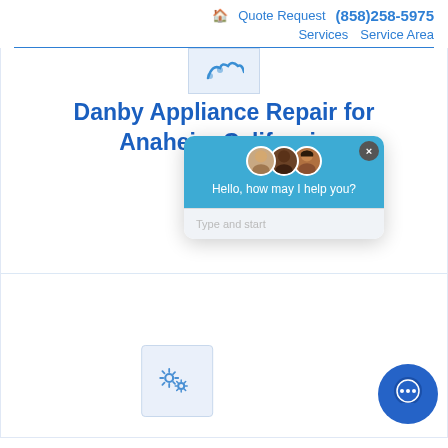🏠 Quote Request  (858)258-5975   Services  Service Area
[Figure (screenshot): Screenshot of a website for Danby Appliance Repair for Anaheim California with a live chat popup overlay showing avatars, greeting 'Hello, how may I help you?' and a 'Type and start' input field, plus gear icons and a chat bubble icon.]
Danby Appliance Repair for Anaheim California